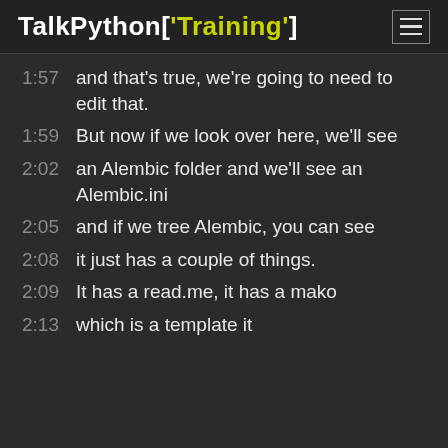TalkPython['Training']
1:57  and that's true, we're going to need to edit that.
1:59  But now if we look over here, we'll see
2:02  an Alembic folder and we'll see an Alembic.ini
2:05  and if we tree Alembic, you can see
2:08  it just has a couple of things.
2:09  It has a read.me, it has a mako
2:13  which is a template it